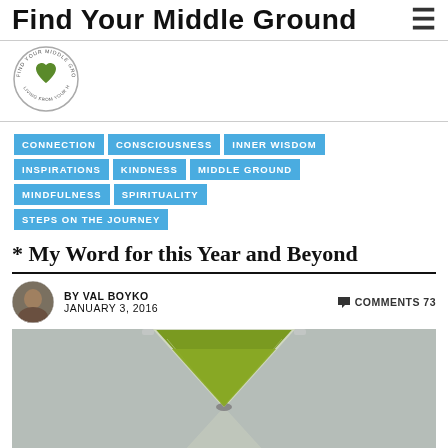Find Your Middle Ground
[Figure (logo): Find Your Middle Ground circular logo with green heart and text around the circle]
CONNECTION
CONSCIOUSNESS
INNER WISDOM
INSPIRATIONS
KINDNESS
MIDDLE GROUND
MINDFULNESS
SPIRITUALITY
STEPS ON THE JOURNEY
* My Word for this Year and Beyond
BY VAL BOYKO  JANUARY 3, 2016  COMMENTS 73
[Figure (photo): An hourglass with green sand, close-up shot on grey background]